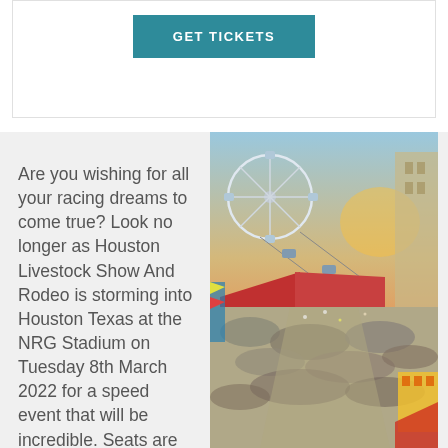GET TICKETS
Are you wishing for all your racing dreams to come true? Look no longer as Houston Livestock Show And Rodeo is storming into Houston Texas at the NRG Stadium on Tuesday 8th March 2022 for a speed event that will be incredible. Seats are on sale and booking them is so easy, so do not delay
[Figure (photo): Aerial view of Houston Livestock Show And Rodeo fairgrounds with ferris wheel, crowds of people, colorful carnival rides and attractions at sunset]